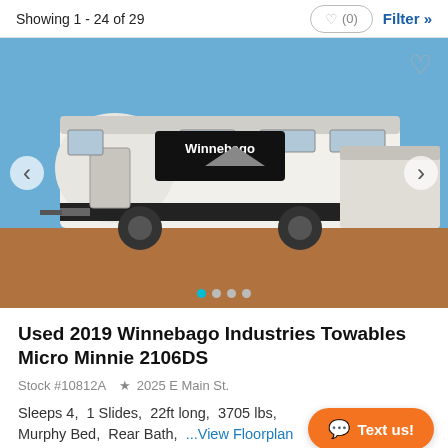Showing 1 - 24 of 29
[Figure (photo): Photo of a white Winnebago travel trailer (RV) parked on a dirt/gravel lot with blue sky background. The trailer has 'Winnebago' branding on the front.]
Used 2019 Winnebago Industries Towables Micro Minnie 2106DS
Stock #10812A  2025 E Main St.
Sleeps 4,  1 Slides,  22ft long,  3705 lbs,  Murphy Bed,  Rear Bath,  ...View Floorplan